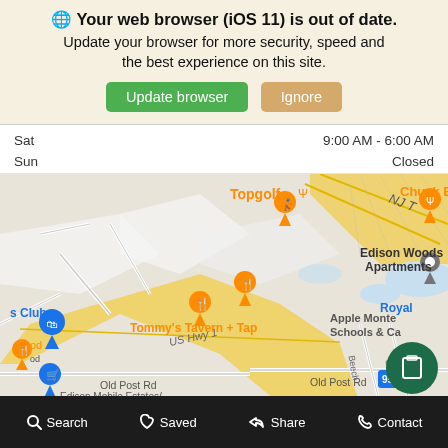🌐 Your web browser (iOS 11) is out of date. Update your browser for more security, speed and the best experience on this site.
Update browser | Ignore
Sat  9:00 AM - 6:00 AM
Sun  Closed
[Figure (map): Google Maps screenshot showing area near Edison, NJ with US Hwy 1, Old Post Rd, Edison Woods Apartments, Tommy's Tavern + Tap, Topgolf, Chuck E. C[heese], s Club, Apple Monte[ssori] Schools & Ca[mp], Royal, NJ T[urnpike], route 95 marker]
Search | Saved | Share | Contact